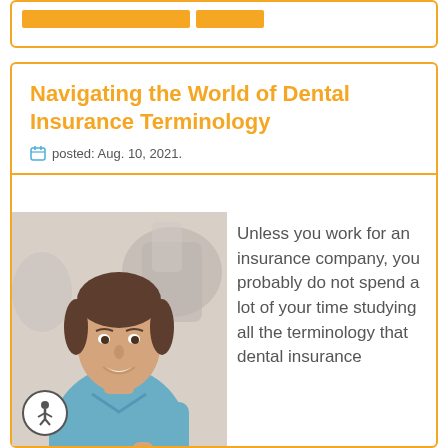[Figure (other): Decorative orange bars in a rounded card at the top of the page]
Navigating the World of Dental Insurance Terminology
posted: Aug. 10, 2021.
[Figure (photo): A smiling female dental professional wearing blue scrubs, holding a dental tool, in a dental office setting]
Unless you work for an insurance company, you probably do not spend a lot of your time studying all the terminology that dental insurance